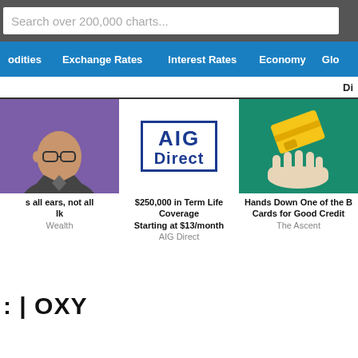Search over 200,000 charts...
odities   Exchange Rates   Interest Rates   Economy   Glo
Di
[Figure (photo): Advertisement: Person (bald man with glasses in suit) against purple background. Caption: 's all ears, not all lk — Wealth]
[Figure (logo): AIG Direct logo in blue rectangle border. Caption: $250,000 in Term Life Coverage Starting at $13/month — AIG Direct]
[Figure (photo): Advertisement: Hand holding yellow credit card against green background. Caption: Hands Down One of the B... Cards for Good Credit... — The Ascent]
s all ears, not all
lk
Wealth
$250,000 in Term Life Coverage Starting at $13/month
AIG Direct
Hands Down One of the B Cards for Good Credit
The Ascent
| OXY